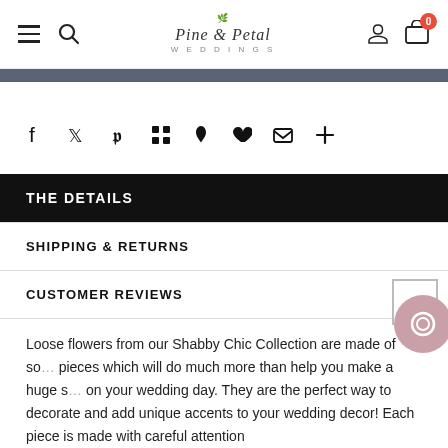Pine & Petal Weddings — navigation header with hamburger menu, search, logo, user icon, cart (0)
[Figure (screenshot): Dark gray horizontal bar below header]
[Figure (infographic): Social sharing icons row: Facebook, Twitter, Pinterest, Grid, Bookmark, Heart, Email, Plus]
THE DETAILS
SHIPPING & RETURNS
CUSTOMER REVIEWS
Loose flowers from our Shabby Chic Collection are made of so... pieces which will do much more than help you make a huge s... on your wedding day. They are the perfect way to decorate and add unique accents to your wedding decor! Each piece is made with careful attention